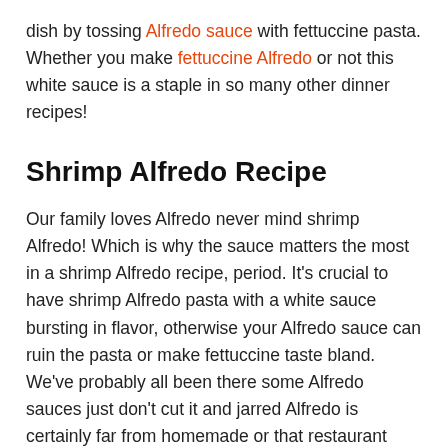dish by tossing Alfredo sauce with fettuccine pasta. Whether you make fettuccine Alfredo or not this white sauce is a staple in so many other dinner recipes!
Shrimp Alfredo Recipe
Our family loves Alfredo never mind shrimp Alfredo! Which is why the sauce matters the most in a shrimp Alfredo recipe, period. It's crucial to have shrimp Alfredo pasta with a white sauce bursting in flavor, otherwise your Alfredo sauce can ruin the pasta or make fettuccine taste bland. We've probably all been there some Alfredo sauces just don't cut it and jarred Alfredo is certainly far from homemade or that restaurant quality we all want to achieve! So, what makes this shrimp Alfredo pasta stand out?